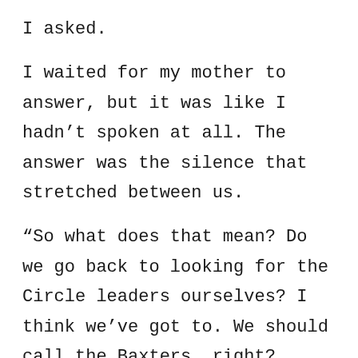I asked.
I waited for my mother to answer, but it was like I hadn’t spoken at all. The answer was the silence that stretched between us.
“So what does that mean? Do we go back to looking for the Circle leaders ourselves? I think we’ve got to. We should call the Baxters, right? Maybe—”
“You should go to bed, Cammie.”
At last, my mother looked at me, but it